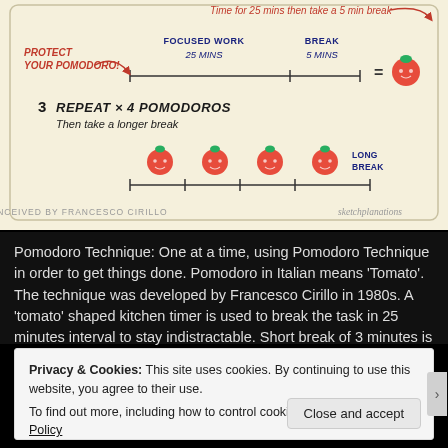[Figure (illustration): Sketchplanations illustration of the Pomodoro Technique showing: step 2 with a timeline of focused work (25 mins) and break (5 mins) equaling a pomodoro (tomato icon), with 'Protect Your Pomodoro!' label and curved arrow; step 3 showing 'Repeat x 4 Pomodoros - Then take a longer break' with four tomato icons on a timeline and 'Long Break' label. Footer: 'Conceived by Francesco Cirillo' and 'sketchplanations']
Pomodoro Technique: One at a time, using Pomodoro Technique in order to get things done. Pomodoro in Italian means 'Tomato'. The technique was developed by Francesco Cirillo in 1980s. A 'tomato' shaped kitchen timer is used to break the task in 25 minutes interval to stay indistractable. Short break of 3 minutes is prescribed on [...]
Privacy & Cookies: This site uses cookies. By continuing to use this website, you agree to their use.
To find out more, including how to control cookies, see here: Cookie Policy
Close and accept